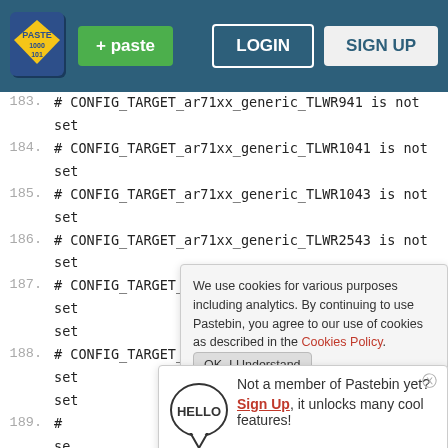[Figure (screenshot): Pastebin website navigation bar with logo, green paste button, LOGIN and SIGN UP buttons on dark teal background]
183. # CONFIG_TARGET_ar71xx_generic_TLWR941 is not set
184. # CONFIG_TARGET_ar71xx_generic_TLWR1041 is not set
185. # CONFIG_TARGET_ar71xx_generic_TLWR1043 is not set
186. # CONFIG_TARGET_ar71xx_generic_TLWR2543 is not set
187. # CONFIG_TARGET_ar71xx_generic_TEW632BRP is not set
188. # CONFIG_TARGET_ar71xx_generic_TEW652BRP is not set
189. # se
190. #
191. #
192. # CONFIG_TARGET_ar71xx_generic_UBNTRS is not set
193. # se
194. # CONFIG_TARGET_ar71xx_generic_UBNTUNIIFI is not
We use cookies for various purposes including analytics. By continuing to use Pastebin, you agree to our use of cookies as described in the Cookies Policy. OK, I Understand
Not a member of Pastebin yet? Sign Up, it unlocks many cool features!